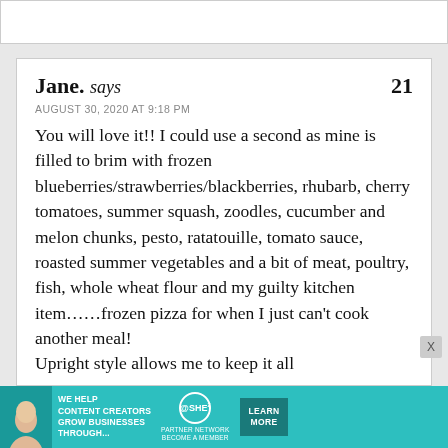Jane. says  21
AUGUST 30, 2020 AT 9:18 PM
You will love it!! I could use a second as mine is filled to brim with frozen blueberries/strawberries/blackberries, rhubarb, cherry tomatoes, summer squash, zoodles, cucumber and melon chunks, pesto, ratatouille, tomato sauce, roasted summer vegetables and a bit of meat, poultry, fish, whole wheat flour and my guilty kitchen item……frozen pizza for when I just can't cook another meal!
Upright style allows me to keep it all
[Figure (infographic): Advertisement banner: WE HELP CONTENT CREATORS GROW BUSINESSES THROUGH... SHE PARTNER NETWORK BECOME A MEMBER. LEARN MORE button. Teal background with woman photo.]